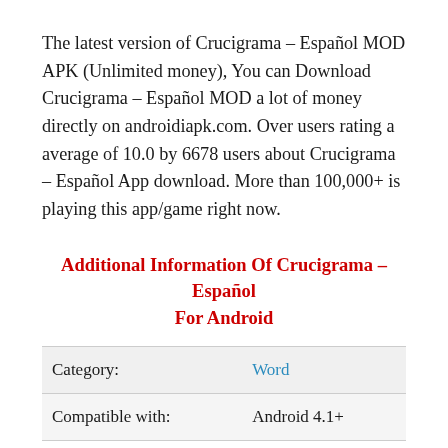The latest version of Crucigrama – Español MOD APK (Unlimited money), You can Download Crucigrama – Español MOD a lot of money directly on androidiapk.com. Over users rating a average of 10.0 by 6678 users about Crucigrama – Español App download. More than 100,000+ is playing this app/game right now.
Additional Information Of Crucigrama – Español For Android
|  |  |
| --- | --- |
| Category: | Word |
| Compatible with: | Android 4.1+ |